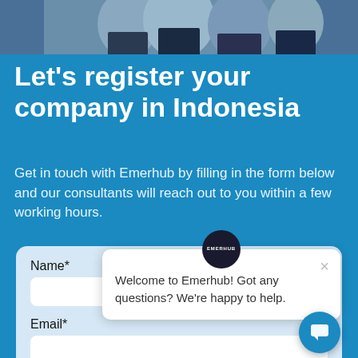[Figure (photo): Photo strip at top showing people in business attire, partially visible]
Let's register your company in Indonesia
Get in touch with Emerhub by filling in the form below and our consultants will reach out to you within a few working hours.
Name*
Email*
Primary activity*
[Figure (screenshot): Chat popup widget with Emerhub logo and message: Welcome to Emerhub! Got any questions? We're happy to help.]